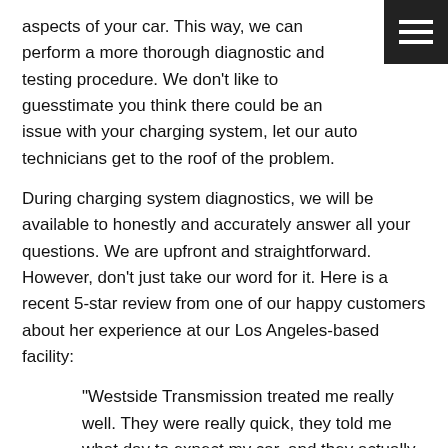aspects of your car. This way, we can perform a more thorough diagnostic and testing procedure. We don't like to guesstimate you think there could be an issue with your charging system, let our auto technicians get to the roof of the problem.
During charging system diagnostics, we will be available to honestly and accurately answer all your questions. We are upfront and straightforward. However, don't just take our word for it. Here is a recent 5-star review from one of our happy customers about her experience at our Los Angeles-based facility:
“Westside Transmission treated me really well. They were really quick, they told me what day to expect my car, and they actually finished early. You can tell they are not trying to get more money out of you and I felt they were trying to help me out.” -- Kamal B.
For an auto repair shop that will have your back, turn to the team at